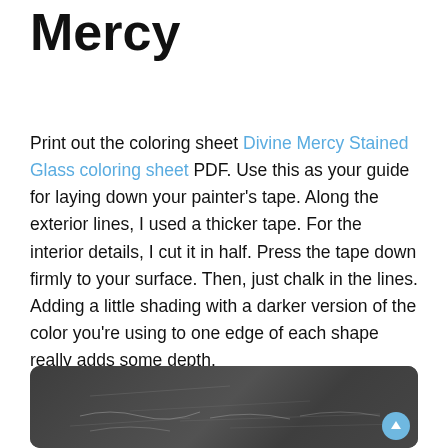Mercy
Print out the coloring sheet Divine Mercy Stained Glass coloring sheet PDF. Use this as your guide for laying down your painter's tape. Along the exterior lines, I used a thicker tape. For the interior details, I cut it in half. Press the tape down firmly to your surface. Then, just chalk in the lines. Adding a little shading with a darker version of the color you're using to one edge of each shape really adds some depth.
[Figure (photo): Dark chalkboard surface with faint chalk scribble lines and handwriting visible]